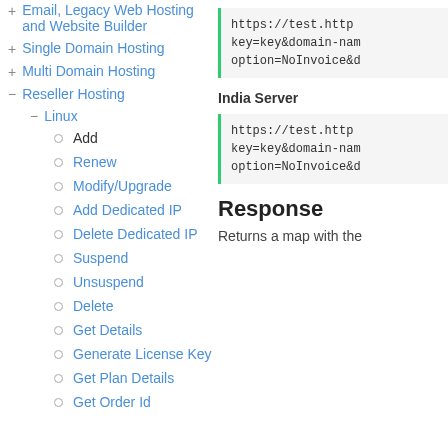+ Email, Legacy Web Hosting and Website Builder
+ Single Domain Hosting
+ Multi Domain Hosting
- Reseller Hosting
- Linux
o Add
o Renew
o Modify/Upgrade
o Add Dedicated IP
o Delete Dedicated IP
o Suspend
o Unsuspend
o Delete
o Get Details
o Generate License Key
o Get Plan Details
o Get Order Id
[Figure (screenshot): Code block showing URL: https://test.http... key=key&domain-nam... option=NoInvoice&d...]
India Server
[Figure (screenshot): Code block showing URL: https://test.http... key=key&domain-nam... option=NoInvoice&d...]
Response
Returns a map with the